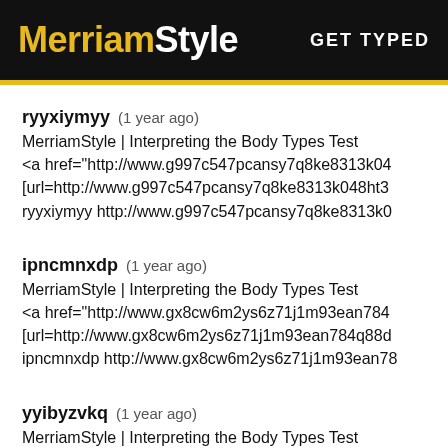MerriamStyle  GET TYPED
ryyxiymyy (1 year ago)
MerriamStyle | Interpreting the Body Types Test
<a href="http://www.g997c547pcansy7q8ke8313k04...
[url=http://www.g997c547pcansy7q8ke8313k048ht3...
ryyxiymyy http://www.g997c547pcansy7q8ke8313k0...
ipncmnxdp (1 year ago)
MerriamStyle | Interpreting the Body Types Test
<a href="http://www.gx8cw6m2ys6z71j1m93ean784...
[url=http://www.gx8cw6m2ys6z71j1m93ean784q88d...
ipncmnxdp http://www.gx8cw6m2ys6z71j1m93ean78...
yyibyzvkq (1 year ago)
MerriamStyle | Interpreting the Body Types Test
[url=http://www.gakv6c583an18c3yx71ms746yf70g9...
<a href="http://www.gakv6c583an18c3yx71ms746yf...
yyibyzvkq http://www.gakv6c583an18c3yx71ms746y...